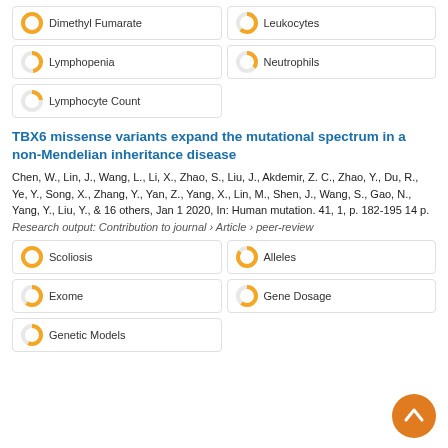Dimethyl Fumarate
Leukocytes
Lymphopenia
Neutrophils
Lymphocyte Count
TBX6 missense variants expand the mutational spectrum in a non-Mendelian inheritance disease
Chen, W., Lin, J., Wang, L., Li, X., Zhao, S., Liu, J., Akdemir, Z. C., Zhao, Y., Du, R., Ye, Y., Song, X., Zhang, Y., Yan, Z., Yang, X., Lin, M., Shen, J., Wang, S., Gao, N., Yang, Y., Liu, Y., & 16 others, Jan 1 2020, In: Human mutation. 41, 1, p. 182-195 14 p.
Research output: Contribution to journal › Article › peer-review
Scoliosis
Alleles
Exome
Gene Dosage
Genetic Models